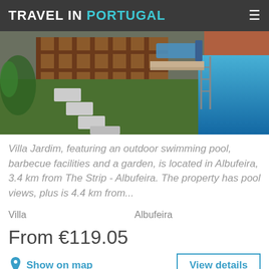TRAVEL IN PORTUGAL
[Figure (photo): Outdoor area of Villa Jardim showing a garden with stepping stones, wooden fence, and a blue swimming pool in the corner]
Villa Jardim, featuring an outdoor swimming pool, barbecue facilities and a garden, is located in Albufeira, 3.4 km from The Strip - Albufeira. The property has pool views, plus is 4.4 km from...
Villa    Albufeira
From €119.05
Show on map
View details